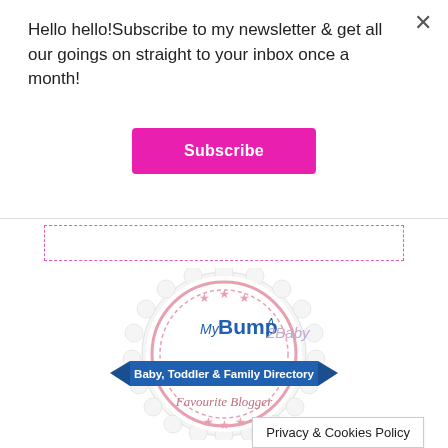Hello hello!Subscribe to my newsletter & get all our goings on straight to your inbox once a month!
Subscribe
[Figure (logo): MyBump2Baby badge - Baby, Toddler & Family Directory Favourite Blogger]
Privacy & Cookies Policy